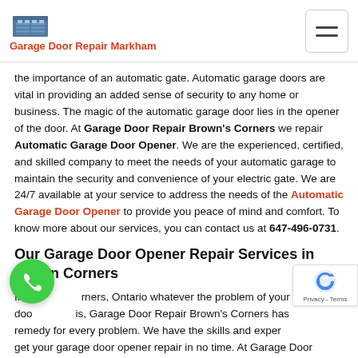Garage Door Repair Markham
the importance of an automatic gate. Automatic garage doors are vital in providing an added sense of security to any home or business. The magic of the automatic garage door lies in the opener of the door. At Garage Door Repair Brown's Corners we repair Automatic Garage Door Opener. We are the experienced, certified, and skilled company to meet the needs of your automatic garage to maintain the security and convenience of your electric gate. We are 24/7 available at your service to address the needs of the Automatic Garage Door Opener to provide you peace of mind and comfort. To know more about our services, you can contact us at 647-496-0731.
Our Garage Door Opener Repair Services in Brown Corners
In Brown's Corners, Ontario whatever the problem of your door opener is, Garage Door Repair Brown's Corners has a remedy for every problem. We have the skills and experience to get your garage door opener repair in no time. At Garage Door